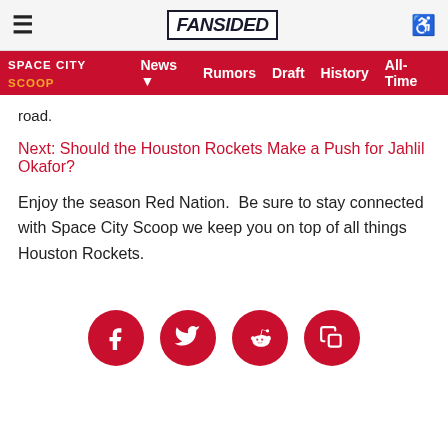FanSided — Space City Scoop | News | Rumors | Draft | History | All-Time
road.
Next: Should the Houston Rockets Make a Push for Jahlil Okafor?
Enjoy the season Red Nation.  Be sure to stay connected with Space City Scoop we keep you on top of all things Houston Rockets.
[Figure (infographic): Row of four red circular social media icons: Facebook, Twitter, Reddit, and a copy/share icon]